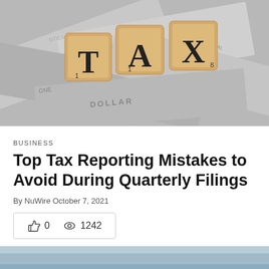[Figure (photo): Scrabble tiles spelling TAX on top of US dollar bills]
BUSINESS
Top Tax Reporting Mistakes to Avoid During Quarterly Filings
By NuWire October 7, 2021
👍 0   👁 1242
[Figure (photo): Bottom partial image, sky background]